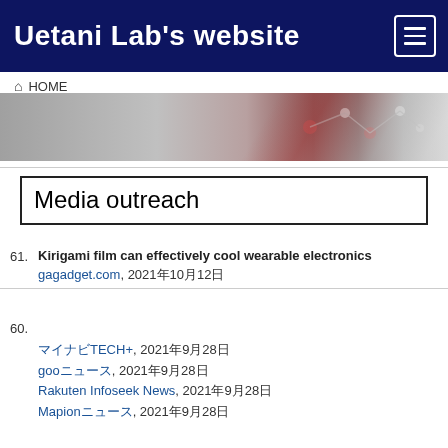Uetani Lab's website
HOME
[Figure (photo): Banner image showing molecular/chemical structure illustration in red and grey tones]
Media outreach
61. Kirigami film can effectively cool wearable electronics
gagadget.com, 2021年10月12日
60. [Japanese text - title about wearable electronics cooling]
マイナビTECH+, 2021年9月28日
gooニュース, 2021年9月28日
Rakuten Infoseek News, 2021年9月28日
Mapionニュース, 2021年9月28日